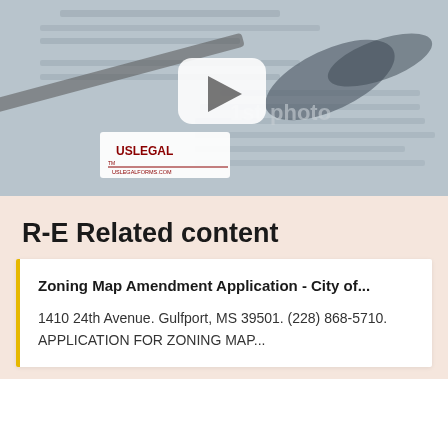[Figure (photo): Screenshot of a US Legal document video thumbnail showing glasses resting on a legal contract with a play button overlay and US Legal watermark logo]
R-E Related content
Zoning Map Amendment Application - City of...
1410 24th Avenue. Gulfport, MS 39501. (228) 868-5710. APPLICATION FOR ZONING MAP...